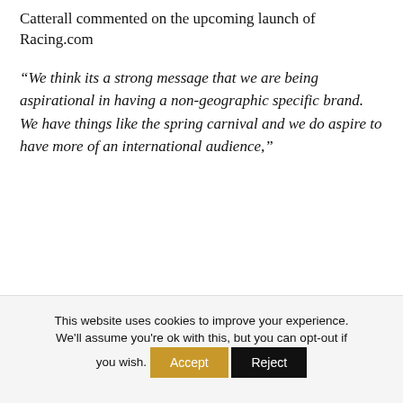Catterall commented on the upcoming launch of Racing.com
“We think its a strong message that we are being aspirational in having a non-geographic specific brand. We have things like the spring carnival and we do aspire to have more of an international audience,”
This website uses cookies to improve your experience. We’ll assume you’re ok with this, but you can opt-out if you wish.